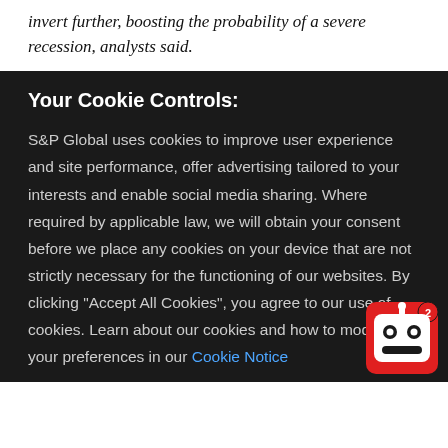invert further, boosting the probability of a severe recession, analysts said.
Your Cookie Controls:
S&P Global uses cookies to improve user experience and site performance, offer advertising tailored to your interests and enable social media sharing. Where required by applicable law, we will obtain your consent before we place any cookies on your device that are not strictly necessary for the functioning of our websites. By clicking "Accept All Cookies", you agree to our use of cookies. Learn about our cookies and how to modify your preferences in our Cookie Notice